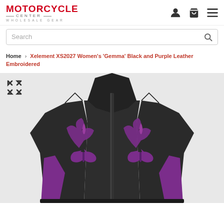MOTORCYCLE CENTER WHOLESALE GEAR
Search
Home > Xelement XS2027 Women's 'Gemma' Black and Purple Leather Embroidered
[Figure (photo): Black and purple women's leather motorcycle jacket with purple floral embroidery on chest and purple accent panels on sides]